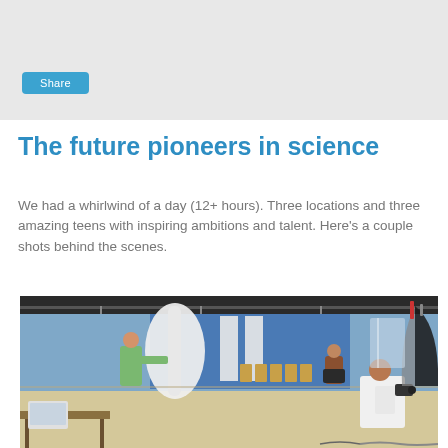Share
The future pioneers in science
We had a whirlwind of a day (12+ hours). Three locations and three amazing teens with inspiring ambitions and talent. Here's a couple shots behind the scenes.
[Figure (photo): Behind-the-scenes photo shoot in a school classroom. A photographer in white t-shirt crouches and photographs a teen sitting on a chair, while another person holds a large white reflector disc. Photography equipment including a black umbrella softbox is visible on the right. The room has blue walls, wooden chairs, and overhead lighting tracks.]